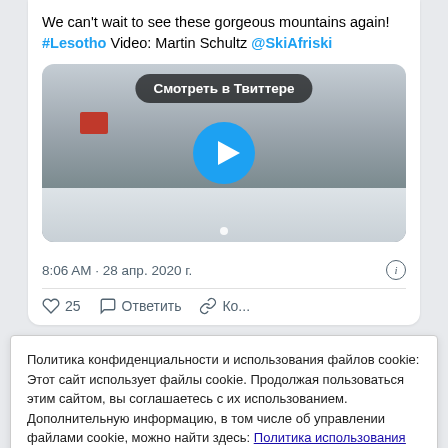We can't wait to see these gorgeous mountains again! #Lesotho Video: Martin Schultz @SkiAfriski
[Figure (screenshot): Video thumbnail of snowy mountain landscape with a red building, a play button circle in the center, and a 'Смотреть в Твиттере' (Watch on Twitter) overlay button at the top.]
8:06 AM · 28 апр. 2020 г.
♡ 25   ○ Ответить   ∞ Ко...
Политика конфиденциальности и использования файлов cookie: Этот сайт использует файлы cookie. Продолжая пользоваться этим сайтом, вы соглашаетесь с их использованием.
Дополнительную информацию, в том числе об управлении файлами cookie, можно найти здесь: Политика использования файлов cookie
Принять и закрыть
April this year than we did in the past